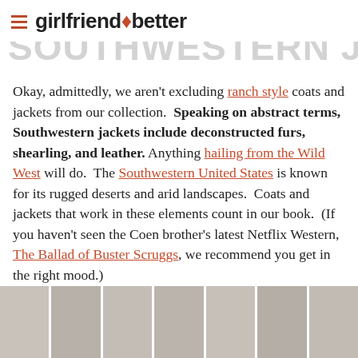girlfriend better
SOUTHWESTERN JACKETS -ISH
Okay, admittedly, we aren't excluding ranch style coats and jackets from our collection.  Speaking on abstract terms, Southwestern jackets include deconstructed furs, shearling, and leather.  Anything hailing from the Wild West will do.  The Southwestern United States is known for its rugged deserts and arid landscapes.  Coats and jackets that work in these elements count in our book.  (If you haven't seen the Coen brother's latest Netflix Western, The Ballad of Buster Scruggs, we recommend you get in the right mood.)
[Figure (photo): Partial photo of a building facade with grid windows, bottom of page]